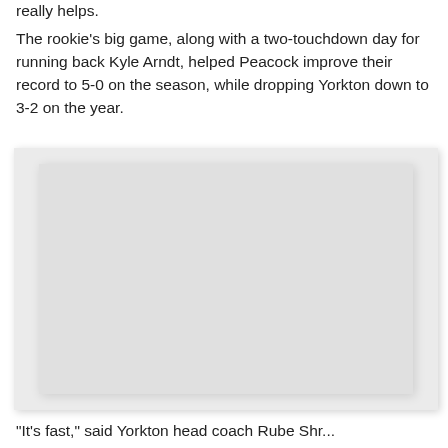really helps.
The rookie's big game, along with a two-touchdown day for running back Kyle Arndt, helped Peacock improve their record to 5-0 on the season, while dropping Yorkton down to 3-2 on the year.
[Figure (photo): A large placeholder/blank image area with light gray background and inner white-gray rectangle, likely a photo that did not load or is redacted.]
"It's fast," said Yorkton head coach Rube Shr...